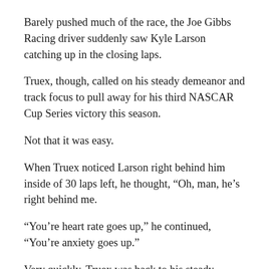Barely pushed much of the race, the Joe Gibbs Racing driver suddenly saw Kyle Larson catching up in the closing laps.
Truex, though, called on his steady demeanor and track focus to pull away for his third NASCAR Cup Series victory this season.
Not that it was easy.
When Truex noticed Larson right behind him inside of 30 laps left, he thought, “Oh, man, he’s right behind me.
“You’re heart rate goes up,” he continued, “You’re anxiety goes up.”
Very quickly, Truex was back to his steady, powerhouse driving at the track “Too Tough To Tame.”